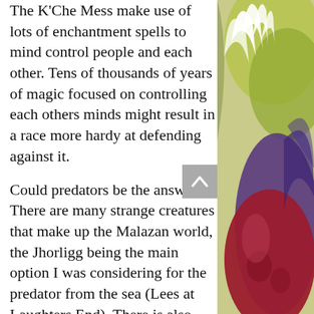The K'Che Mess make use of lots of enchantment spells to mind control people and each other. Tens of thousands of years of magic focused on controlling each others minds might result in a race more hardy at defending against it.
Could predators be the answer? There are many strange creatures that make up the Malazan world, the Jhorligg being the main option I was considering for the predator from the sea (Lees at Laughters End). There is also appears in the same book another powerful beast with amazing mental powers. Reading the books I had simply assumed they were one and the same species, so perhaps the
[Figure (illustration): A colorful fantasy illustration showing a creature or figure with white feathers/hair, purple and red tones, on a green and yellow background.]